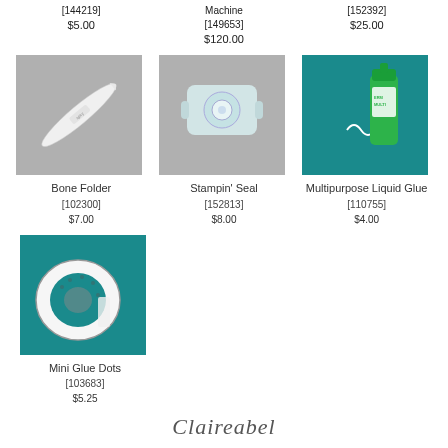[144219]
$5.00
Machine
[149653]
$120.00
[152392]
$25.00
[Figure (photo): Bone Folder tool on gray background]
Bone Folder
[102300]
$7.00
[Figure (photo): Stampin' Seal tape runner on gray background]
Stampin' Seal
[152813]
$8.00
[Figure (photo): Multipurpose Liquid Glue bottle on teal background]
Multipurpose Liquid Glue
[110755]
$4.00
[Figure (photo): Mini Glue Dots roll on teal background]
Mini Glue Dots
[103683]
$5.25